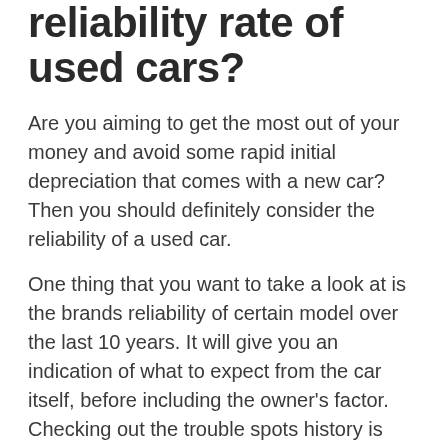reliability rate of used cars?
Are you aiming to get the most out of your money and avoid some rapid initial depreciation that comes with a new car? Then you should definitely consider the reliability of a used car.
One thing that you want to take a look at is the brands reliability of certain model over the last 10 years. It will give you an indication of what to expect from the car itself, before including the owner's factor. Checking out the trouble spots history is always beneficial and not to mention the CarFax. It still wouldn't hurt to have it checked out before you buy a used car, just to make sure that you are putting your money in the right place.